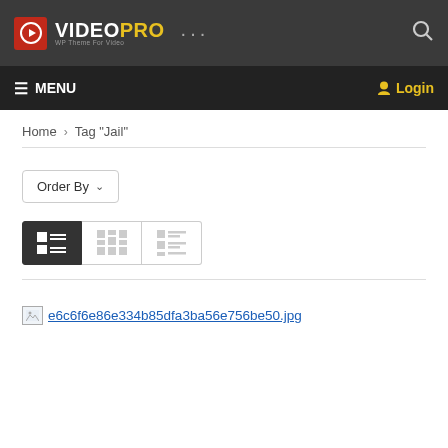VIDEO PRO — WP Theme For Video
MENU   Login
Home > Tag "Jail"
Order By
[Figure (screenshot): View toggle buttons: grid, masonry, list views]
e6c6f6e86e334b85dfa3ba56e756be50.jpg